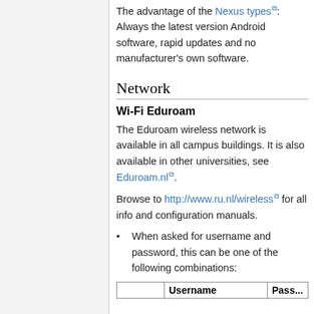The advantage of the Nexus types: Always the latest version Android software, rapid updates and no manufacturer's own software.
Network
Wi-Fi Eduroam
The Eduroam wireless network is available in all campus buildings. It is also available in other universities, see Eduroam.nl.
Browse to http://www.ru.nl/wireless for all info and configuration manuals.
When asked for username and password, this can be one of the following combinations:
|  | Username | Pass... |
| --- | --- | --- |